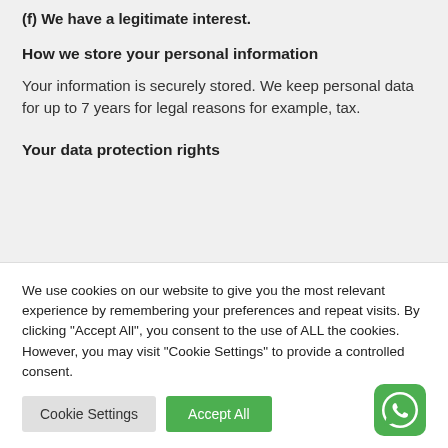(f) We have a legitimate interest.
How we store your personal information
Your information is securely stored. We keep personal data for up to 7 years for legal reasons for example, tax.
Your data protection rights
We use cookies on our website to give you the most relevant experience by remembering your preferences and repeat visits. By clicking "Accept All", you consent to the use of ALL the cookies. However, you may visit "Cookie Settings" to provide a controlled consent.
[Figure (screenshot): Cookie consent banner with Cookie Settings and Accept All buttons, and WhatsApp icon]